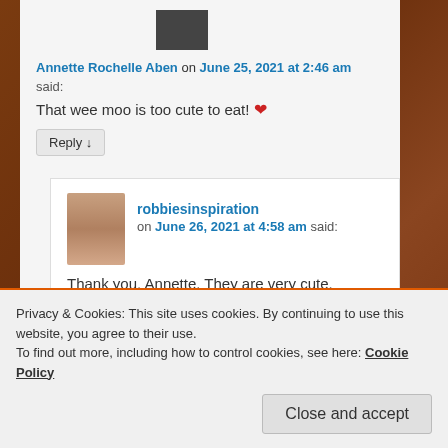[Figure (photo): Small avatar/profile thumbnail image at top]
Annette Rochelle Aben on June 25, 2021 at 2:46 am said:
That wee moo is too cute to eat! ❤
Reply ↓
[Figure (photo): Profile photo of robbiesinspiration - woman with blonde hair]
robbiesinspiration on June 26, 2021 at 4:58 am said:
Thank you, Annette. They are very cute.
Reply ↓
Privacy & Cookies: This site uses cookies. By continuing to use this website, you agree to their use.
To find out more, including how to control cookies, see here: Cookie Policy
Close and accept